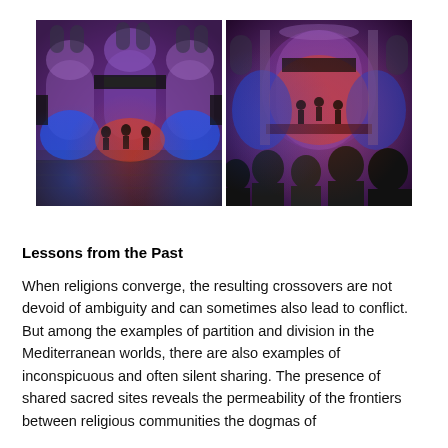[Figure (photo): Two side-by-side photos of a concert performance in an ornate hall with blue and red lighting, musicians on stage, and audience members in the foreground of the right photo.]
Lessons from the Past
When religions converge, the resulting crossovers are not devoid of ambiguity and can sometimes also lead to conflict. But among the examples of partition and division in the Mediterranean worlds, there are also examples of inconspicuous and often silent sharing. The presence of shared sacred sites reveals the permeability of the frontiers between religious communities the dogmas of